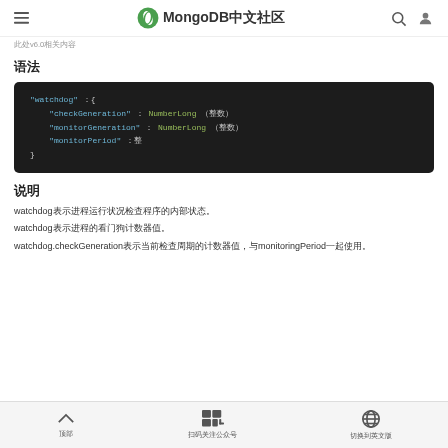MongoDB中文社区
此处v6.0相关内容
语法
[Figure (screenshot): Code block showing watchdog JSON structure with fields checkGeneration (NumberLong), monitorGeneration (NumberLong), and monitorPeriod]
说明
watchdog表示进程运行状况检查程序的内部状态。
watchdog表示进程的看门狗计数器值。
watchdog.checkGeneration表示当前检查周期的计数器值，与monitoringPeriod一起使用。
顶部 扫码关注 切换语言